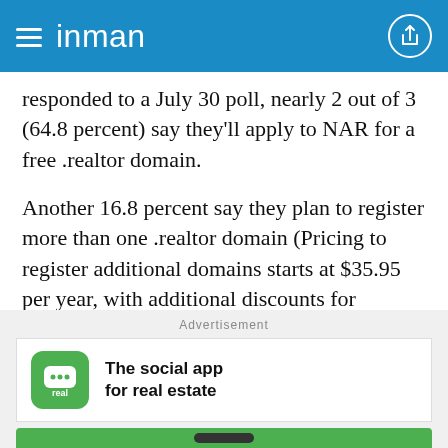inman
responded to a July 30 poll, nearly 2 out of 3 (64.8 percent) say they’ll apply to NAR for a free .realtor domain.
Another 16.8 percent say they plan to register more than one .realtor domain (Pricing to register additional domains starts at $35.95 per year, with additional discounts for multiple domains and multiyear licenses. Bulk broker and franchise pricing is in development.)
Advertisement
[Figure (other): Advertisement for 'real' social app for real estate, showing a green app icon with chat bubble and 'real' text, with the tagline 'The social app for real estate']